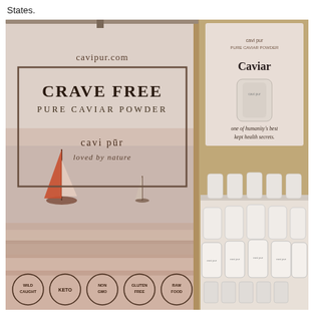States.
[Figure (photo): Photo of a trade show booth for cavipur.com featuring a tall pull-up banner reading 'CRAVE FREE PURE CAVIAR POWDER, cavi pūr, loved by nature' with a sailboat ocean scene, and a product display table with multiple white bottles of Caviar supplement product, alongside a sign reading 'Caviar – one of humanity's best kept health secrets.' Circular badges at the bottom of the banner read: WILD CAUGHT, KETO, NON GMO, GLUTEN FREE, RAW FOOD.]